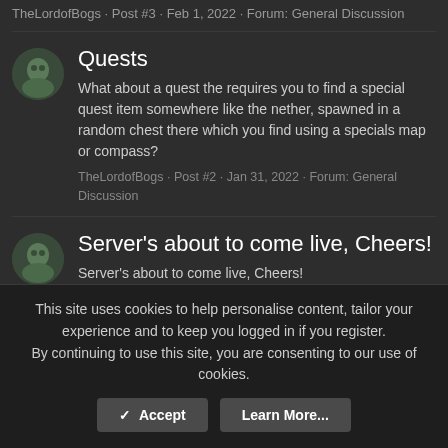TheLordofBogs · Post #3 · Feb 1, 2022 · Forum: General Discussion
Quests
What about a quest the requires you to find a special quest item somewhere like the nether, spawned in a random chest there which you find using a specials map or compass?
TheLordofBogs · Post #2 · Jan 31, 2022 · Forum: General Discussion
Server's about to come live, Cheers!
Server's about to come live, Cheers!
TheLordofBogs · Profile post · Jan 29, 2022
List of Mods/Plugins
I just thought it would be a good idea to put a list out
This site uses cookies to help personalise content, tailor your experience and to keep you logged in if you register.
By continuing to use this site, you are consenting to our use of cookies.